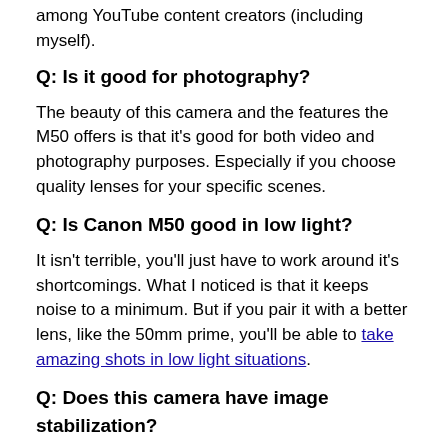among YouTube content creators (including myself).
Q: Is it good for photography?
The beauty of this camera and the features the M50 offers is that it's good for both video and photography purposes. Especially if you choose quality lenses for your specific scenes.
Q: Is Canon M50 good in low light?
It isn't terrible, you'll just have to work around it's shortcomings. What I noticed is that it keeps noise to a minimum. But if you pair it with a better lens, like the 50mm prime, you'll be able to take amazing shots in low light situations.
Q: Does this camera have image stabilization?
Yes, the Canon EOS M50 has digital image stabilization. It has the so-called Optical Image